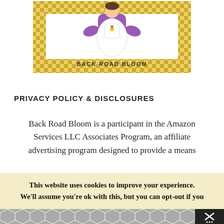[Figure (logo): Back Road Bloom logo: cartoon figure wearing white apron and purple sleeves, surrounded by yellow gingham/checkered border, text 'BACK ROAD BLOOM' below figure]
PRIVACY POLICY & DISCLOSURES
Back Road Bloom is a participant in the Amazon Services LLC Associates Program, an affiliate advertising program designed to provide a means for sites to earn advertising fees by linking to
This website uses cookies to improve your experience. We'll assume you're ok with this, but you can opt-out if you
[Figure (other): Bottom bar with geometric hexagon/diamond pattern in gray, and a close (X) button with menu icon on the right, on dark background]